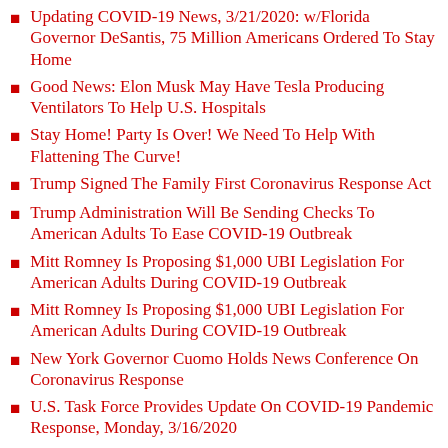Updating COVID-19 News, 3/21/2020: w/Florida Governor DeSantis, 75 Million Americans Ordered To Stay Home
Good News: Elon Musk May Have Tesla Producing Ventilators To Help U.S. Hospitals
Stay Home! Party Is Over! We Need To Help With Flattening The Curve!
Trump Signed The Family First Coronavirus Response Act
Trump Administration Will Be Sending Checks To American Adults To Ease COVID-19 Outbreak
Mitt Romney Is Proposing $1,000 UBI Legislation For American Adults During COVID-19 Outbreak
Mitt Romney Is Proposing $1,000 UBI Legislation For American Adults During COVID-19 Outbreak
New York Governor Cuomo Holds News Conference On Coronavirus Response
U.S. Task Force Provides Update On COVID-19 Pandemic Response, Monday, 3/16/2020
Manitoba, Canadian Officials Warning People About